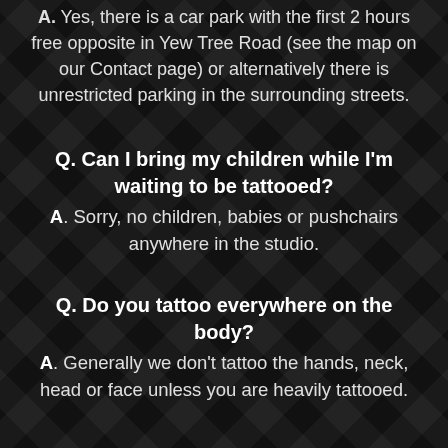A. Yes, there is a car park with the first 2 hours free opposite in Yew Tree Road (see the map on our Contact page) or alternatively there is unrestricted parking in the surrounding streets.
Q. Can I bring my children while I'm waiting to be tattooed? A. Sorry, no children, babies or pushchairs anywhere in the studio.
Q. Do you tattoo everywhere on the body? A. Generally we don't tattoo the hands, neck, head or face unless you are heavily tattooed.